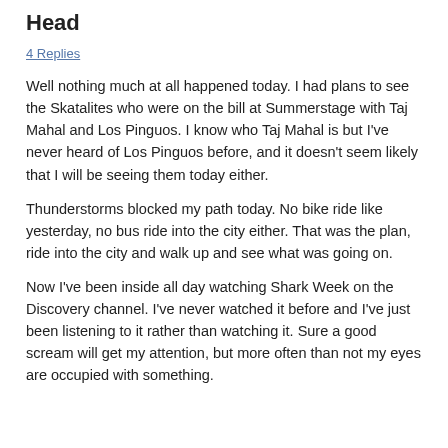Head
4 Replies
Well nothing much at all happened today. I had plans to see the Skatalites who were on the bill at Summerstage with Taj Mahal and Los Pinguos. I know who Taj Mahal is but I've never heard of Los Pinguos before, and it doesn't seem likely that I will be seeing them today either.
Thunderstorms blocked my path today. No bike ride like yesterday, no bus ride into the city either. That was the plan, ride into the city and walk up and see what was going on.
Now I've been inside all day watching Shark Week on the Discovery channel. I've never watched it before and I've just been listening to it rather than watching it. Sure a good scream will get my attention, but more often than not my eyes are occupied with something.